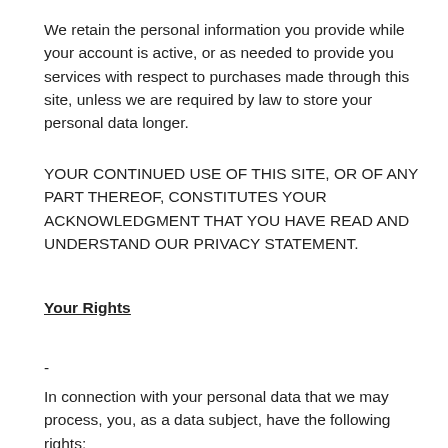We retain the personal information you provide while your account is active, or as needed to provide you services with respect to purchases made through this site, unless we are required by law to store your personal data longer.
YOUR CONTINUED USE OF THIS SITE, OR OF ANY PART THEREOF, CONSTITUTES YOUR ACKNOWLEDGMENT THAT YOU HAVE READ AND UNDERSTAND OUR PRIVACY STATEMENT.
Your Rights
-
In connection with your personal data that we may process, you, as a data subject, have the following rights: